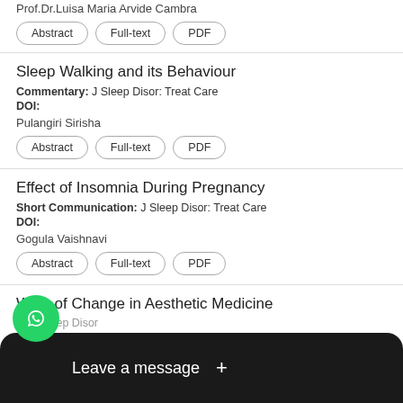Prof.Dr.Luisa Maria Arvide Cambra
Abstract | Full-text | PDF
Sleep Walking and its Behaviour
Commentary: J Sleep Disor: Treat Care
DOI:
Pulangiri Sirisha
Abstract | Full-text | PDF
Effect of Insomnia During Pregnancy
Short Communication: J Sleep Disor: Treat Care
DOI:
Gogula Vaishnavi
Abstract | Full-text | PDF
Wins of Change in Aesthetic Medicine
al: J Sleep Disor
Atul
[Figure (screenshot): WhatsApp chat widget with green phone icon and dark 'Leave a message +' bar at bottom]